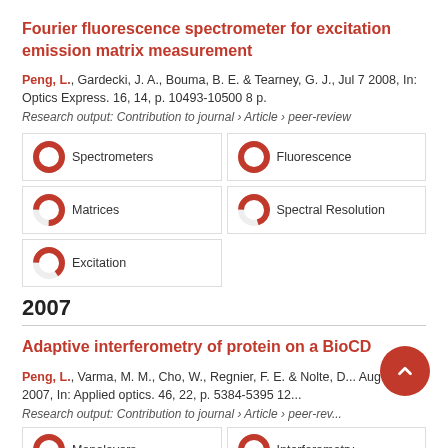Fourier fluorescence spectrometer for excitation emission matrix measurement
Peng, L., Gardecki, J. A., Bouma, B. E. & Tearney, G. J., Jul 7 2008, In: Optics Express. 16, 14, p. 10493-10500 8 p.
Research output: Contribution to journal › Article › peer-review
[Figure (infographic): Keyword badges: Spectrometers (~100%), Fluorescence (~100%), Matrices (~75%), Spectral Resolution (~70%), Excitation (~65%)]
2007
Adaptive interferometry of protein on a BioCD
Peng, L., Varma, M. M., Cho, W., Regnier, F. E. & Nolte, D... Aug 1 2007, In: Applied optics. 46, 22, p. 5384-5395 12...
Research output: Contribution to journal › Article › peer-review
[Figure (infographic): Keyword badges: Monolayers (~100%), Interferometry (~90%) — partially visible]